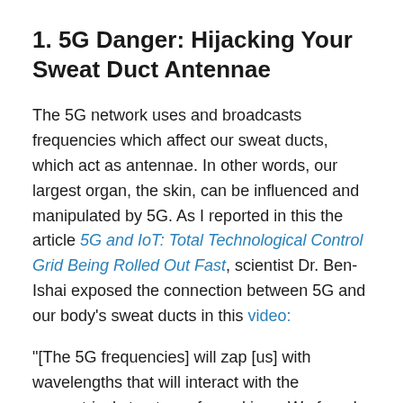1. 5G Danger: Hijacking Your Sweat Duct Antennae
The 5G network uses and broadcasts frequencies which affect our sweat ducts, which act as antennae. In other words, our largest organ, the skin, can be influenced and manipulated by 5G. As I reported in this the article 5G and IoT: Total Technological Control Grid Being Rolled Out Fast, scientist Dr. Ben-Ishai exposed the connection between 5G and our body's sweat ducts in this video:
"[The 5G frequencies] will zap [us] with wavelengths that will interact with the geometrical structure of our skin … We found that sweat ducts work like helical antennas … the sweat duct was an integral part of the mechanism for